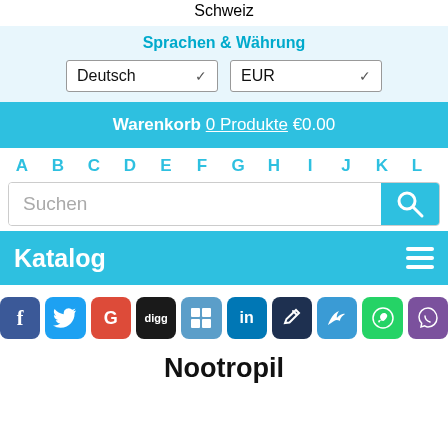Schweiz
Sprachen & Währung
Deutsch   EUR
Warenkorb 0 Produkte €0.00
A B C D E F G H I J K L
Suchen
Katalog
[Figure (infographic): Row of social media share icons: Facebook, Twitter, Google+, Digg, Delicious, LinkedIn, unknown, Mixi, WhatsApp, Viber]
Nootropil